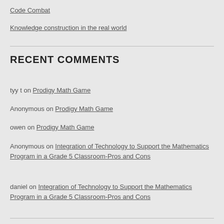Code Combat
Knowledge construction in the real world
RECENT COMMENTS
tyy t on Prodigy Math Game
Anonymous on Prodigy Math Game
owen on Prodigy Math Game
Anonymous on Integration of Technology to Support the Mathematics Program in a Grade 5 Classroom-Pros and Cons
daniel on Integration of Technology to Support the Mathematics Program in a Grade 5 Classroom-Pros and Cons